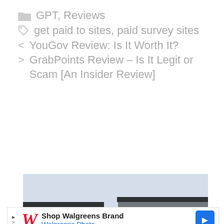GPT, Reviews
get paid to sites, paid survey sites
< YouGov Review: Is It Worth It?
> GrabPoints Review – Is It Legit or Scam [An Insider Review]
[Figure (photo): Exterior photo of a Tropical Smoothie Cafe building with Drive Thru sign and teal awnings, shot from below against a light sky]
[Figure (other): Advertisement banner: Shop Walgreens Brand - Walgreens Photo, with Walgreens W logo and blue arrow icon]